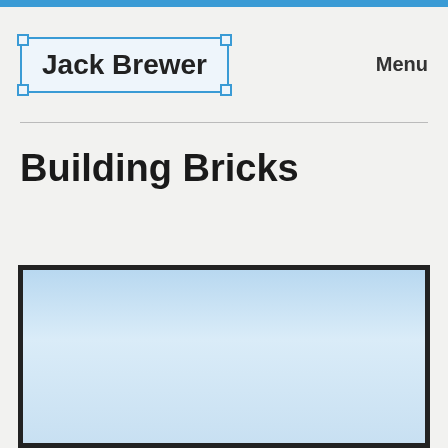Jack Brewer | Menu
Building Bricks
[Figure (illustration): Large rectangular image area with a light blue gradient fill, bordered by a thick dark border. The image appears to be a placeholder or cropped photo with a sky-like light blue background.]